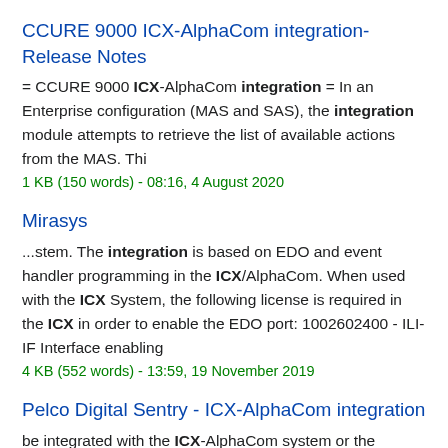CCURE 9000 ICX-AlphaCom integration- Release Notes
= CCURE 9000 ICX-AlphaCom integration = In an Enterprise configuration (MAS and SAS), the integration module attempts to retrieve the list of available actions from the MAS. Thi
1 KB (150 words) - 08:16, 4 August 2020
Mirasys
...stem. The integration is based on EDO and event handler programming in the ICX/AlphaCom. When used with the ICX System, the following license is required in the ICX in order to enable the EDO port: 1002602400 - ILI-IF Interface enabling
4 KB (552 words) - 13:59, 19 November 2019
Pelco Digital Sentry - ICX-AlphaCom integration
be integrated with the ICX-AlphaCom system or the